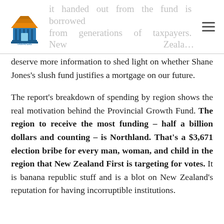it handed out from the fund is borrowed from future generations of taxpayers. New Zealand
deserve more information to shed light on whether Shane Jones's slush fund justifies a mortgage on our future.
The report's breakdown of spending by region shows the real motivation behind the Provincial Growth Fund. The region to receive the most funding – half a billion dollars and counting – is Northland. That's a $3,671 election bribe for every man, woman, and child in the region that New Zealand First is targeting for votes. It is banana republic stuff and is a blot on New Zealand's reputation for having incorruptible institutions.